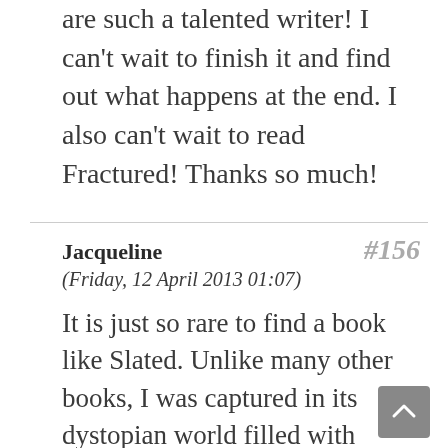are such a talented writer! I can't wait to finish it and find out what happens at the end. I also can't wait to read Fractured! Thanks so much!
Jacqueline #156 (Friday, 12 April 2013 01:07)
It is just so rare to find a book like Slated. Unlike many other books, I was captured in its dystopian world filled with endless intriguing characters...